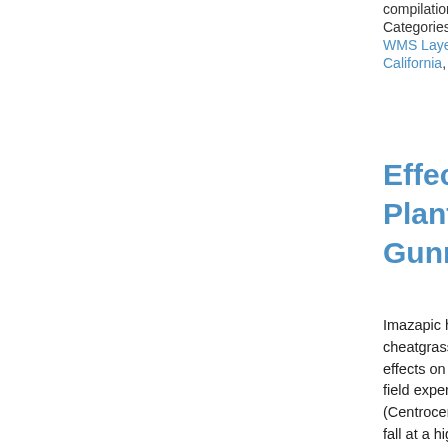compilation.Definition... Categories: Data; Types: Downloadable, Map Service, OGC WMS Layer, Shapefile; Tags: Alberta, Biology and Ecology, California, Canada, All tags...
Effect of Imazapic on Cheatgrass and Native Plants in Wyoming Big Sagebrush Rangeland Used by Gunnison Sage-grouse
Imazapic has shown potential to control invasive weedy cheatgrass (Bromus tectorum L.), during ecological restoration, but effects on non-target native plants are poorly known. We conducted a field experiment, as part of restoration for Gunnison sage-grouse (Centrocercus minimus) in Colorado, imazapic was applied in the fall at a high rate (175 g/ha) to control cheatgrass in areas of Wyoming big sagebrush (Artemisia tridentata Nutt. ssp. wyomingensis Beetle & Young). Cheatgrass was reduced by 67%, and non-native forbs were reduced by 80% by the following summer. However, native forbs also dec... Two native grasses declined, but others were not... to native forbs would likely...
Categories: Publication; Types: Citation, Journal Citation; T... grouse, Natural Areas Association, Natural Areas Journal, R... All tags...